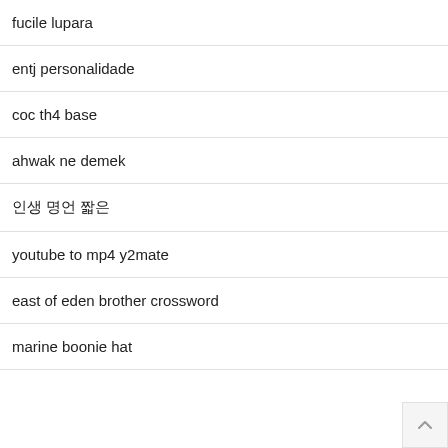fucile lupara
entj personalidade
coc th4 base
ahwak ne demek
인생 명언 짧은
youtube to mp4 y2mate
east of eden brother crossword
marine boonie hat